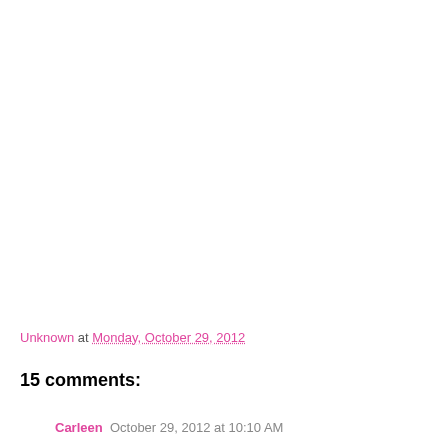Unknown at Monday, October 29, 2012
15 comments:
Carleen October 29, 2012 at 10:10 AM